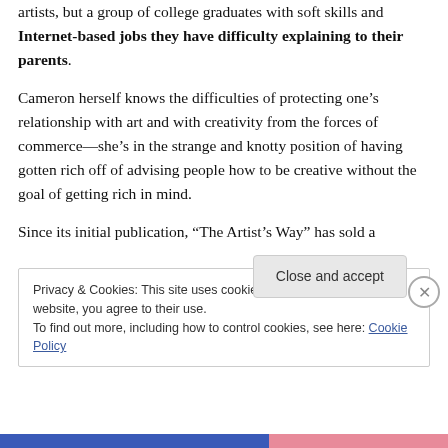artists, but a group of college graduates with soft skills and Internet-based jobs they have difficulty explaining to their parents.
Cameron herself knows the difficulties of protecting one’s relationship with art and with creativity from the forces of commerce—she’s in the strange and knotty position of having gotten rich off of advising people how to be creative without the goal of getting rich in mind.
Since its initial publication, “The Artist’s Way” has sold a
Privacy & Cookies: This site uses cookies. By continuing to use this website, you agree to their use.
To find out more, including how to control cookies, see here: Cookie Policy
Close and accept